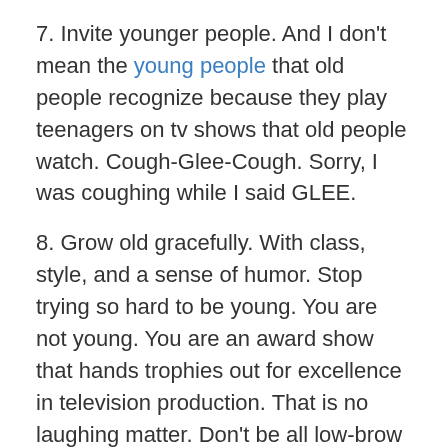7. Invite younger people. And I don't mean the young people that old people recognize because they play teenagers on tv shows that old people watch. Cough-Glee-Cough. Sorry, I was coughing while I said GLEE.
8. Grow old gracefully. With class, style, and a sense of humor. Stop trying so hard to be young. You are not young. You are an award show that hands trophies out for excellence in television production. That is no laughing matter. Don't be all low-brow about it for cheap laughs. You are better than that. You have survived, and if you want to continue surviving, you will have to evolve with the times without trying to turn back the clock.
9. Never invite the Jersey Shore cast again.
10. Hire me. But be advised that I did not watch the whole show this year. It got boring. I used most of it as white